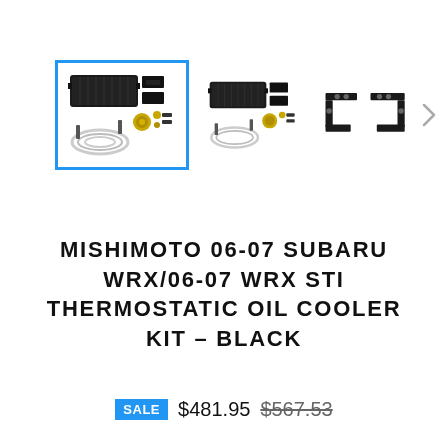[Figure (photo): Product image gallery showing three thumbnail images of the Mishimoto oil cooler kit. The first thumbnail (selected, highlighted with blue border) shows the full kit with oil cooler, brackets, fittings, and braided hose. The second thumbnail shows the same kit view. The third thumbnail shows only the mounting brackets. A right arrow navigation button is visible.]
MISHIMOTO 06-07 SUBARU WRX/06-07 WRX STI THERMOSTATIC OIL COOLER KIT - BLACK
SALE $481.95 $567.53